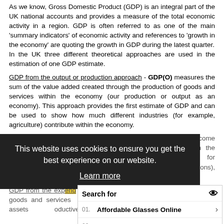As we know, Gross Domestic Product (GDP) is an integral part of the UK national accounts and provides a measure of the total economic activity in a region. GDP is often referred to as one of the main 'summary indicators' of economic activity and references to 'growth in the economy' are quoting the growth in GDP during the latest quarter.
In the UK three different theoretical approaches are used in the estimation of one GDP estimate.
GDP from the output or production approach - GDP(O) measures the sum of the value added created through the production of goods and services within the economy (our production or output as an economy). This approach provides the first estimate of GDP and can be used to show how much different industries (for example, agriculture) contribute within the economy.
GDP from the income approach - GDP(I) measures the total income generated by the production of goods and services within the economy. This approach breaks down income into, for example, compensation of employees (wages and salaries), employees and the self employed.
GDP from the expenditure approach - GDP(E) measures the total expenditure on goods and services within the economy.
[Figure (screenshot): Cookie consent overlay on dark background reading: This website uses cookies to ensure you get the best experience on our website. Learn more]
[Figure (screenshot): Yahoo sponsored search ad overlay with items: 01. Affordable Glasses Online, 02. Sleep Apnea Treatments Options]